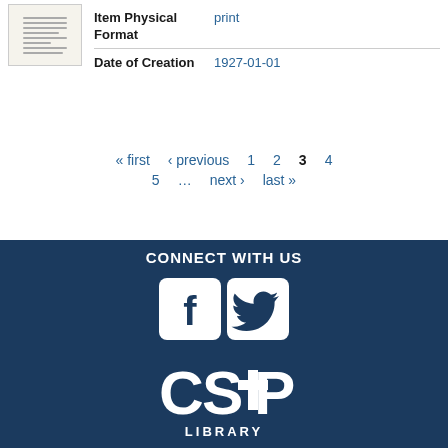[Figure (photo): Thumbnail image of a document/print item]
| Item Physical Format | print |
| Date of Creation | 1927-01-01 |
« first  ‹ previous  1  2  3  4  5  …  next ›  last »
[Figure (logo): CSP Library logo with Facebook and Twitter social media icons on dark navy background. Text reads CONNECT WITH US above social icons, then CSP LIBRARY logo below.]